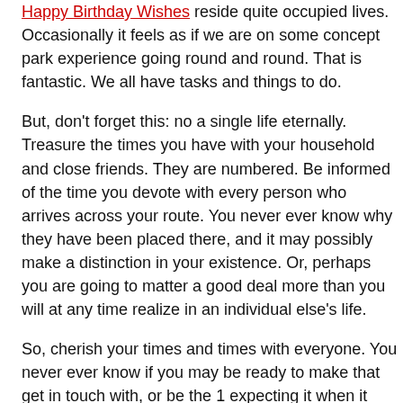Happy Birthday Wishes reside quite occupied lives. Occasionally it feels as if we are on some concept park experience going round and round. That is fantastic. We all have tasks and things to do.
But, don't forget this: no a single life eternally. Treasure the times you have with your household and close friends. They are numbered. Be informed of the time you devote with every person who arrives across your route. You never ever know why they have been placed there, and it may possibly make a distinction in your existence. Or, perhaps you are going to matter a good deal more than you will at any time realize in an individual else's life.
So, cherish your times and times with everyone. You never ever know if you may be ready to make that get in touch with, or be the 1 expecting it when it issues most on a